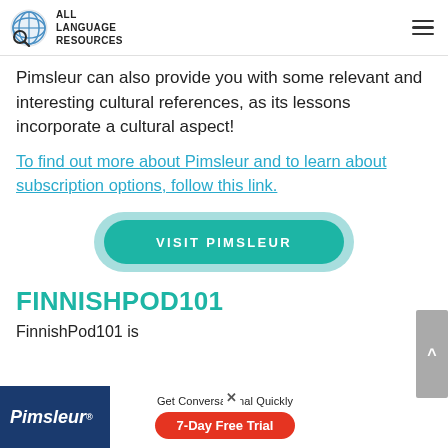ALL LANGUAGE RESOURCES
Pimsleur can also provide you with some relevant and interesting cultural references, as its lessons incorporate a cultural aspect!
To find out more about Pimsleur and to learn about subscription options, follow this link.
[Figure (other): VISIT PIMSLEUR button - teal rounded pill button with light teal outer glow]
FINNISHPOD101
FinnishPod101 is
[Figure (other): Pimsleur advertisement banner at bottom: dark blue background with Pimsleur logo, white panel with 'Get Conversational Quickly' text and red '7-Day Free Trial' button, close X button]